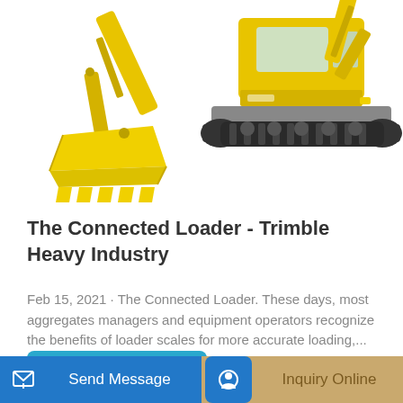[Figure (photo): Yellow construction equipment: loader bucket arm on the left and mini excavator on tracked undercarriage on the right, white background]
The Connected Loader - Trimble Heavy Industry
Feb 15, 2021 · The Connected Loader. These days, most aggregates managers and equipment operators recognize the benefits of loader scales for more accurate loading,...
Learn More
Send Message
Inquiry Online